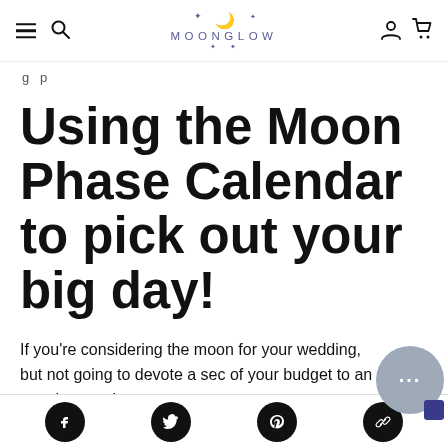MOONGLOW — navigation bar with hamburger menu, search, logo, account and cart icons
g p
Using the Moon Phase Calendar to pick out your big day!
If you're considering the moon for your wedding, but not going to devote a sec of your budget to an astrologer, take t
Social share icons: Facebook, Twitter, Pinterest, Link